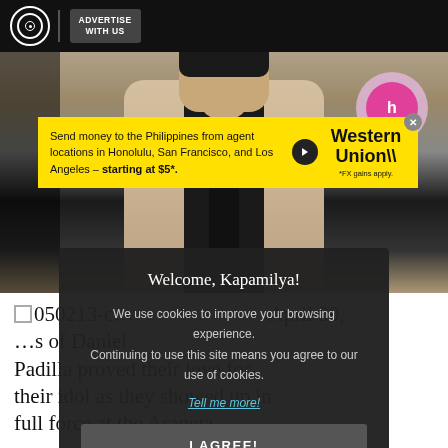ABS-CBN | ADVERTISE WITH US
[Figure (photo): Young man in beige/champagne blazer with black shirt and black tie, photographed from chest up. Pink circular logo visible in upper right background.]
[Figure (infographic): Western Union advertisement banner in yellow: 'Send money to the Philippines from agent locations in Honolulu, San Francisco, and Los Angeles – starting at $5*. *FX gains apply.' with Western Union logo.]
Welcome, Kapamilya!

We use cookies to improve your browsing experience.

Continuing to use this site means you agree to our use of cookies.

Tell me more!

I AGREE!
□050213-c... April 30, ...s of Daniel Padilla proved their love for their idol as they showed up in full force at the Araneta